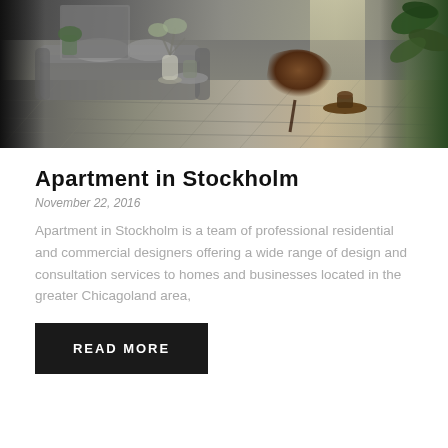[Figure (photo): Interior photo of a modern Scandinavian-style living room with gray tile floor, modern lounge chair, sofa, plants, and large windows with natural light.]
Apartment in Stockholm
November 22, 2016
Apartment in Stockholm is a team of professional residential and commercial designers offering a wide range of design and consultation services to homes and businesses located in the greater Chicagoland area,
READ MORE